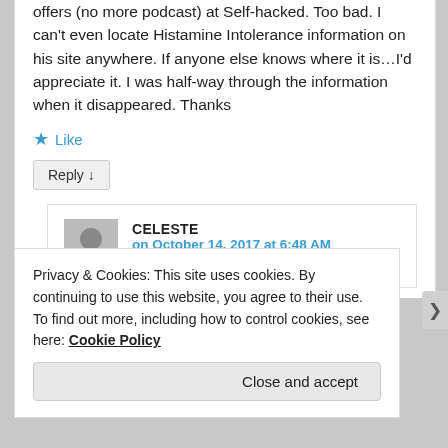offers (no more podcast) at Self-hacked. Too bad. I can't even locate Histamine Intolerance information on his site anywhere. If anyone else knows where it is…I'd appreciate it. I was half-way through the information when it disappeared. Thanks
★ Like
Reply ↓
CELESTE
on October 14, 2017 at 6:48 AM
said:
Privacy & Cookies: This site uses cookies. By continuing to use this website, you agree to their use.
To find out more, including how to control cookies, see here: Cookie Policy
Close and accept